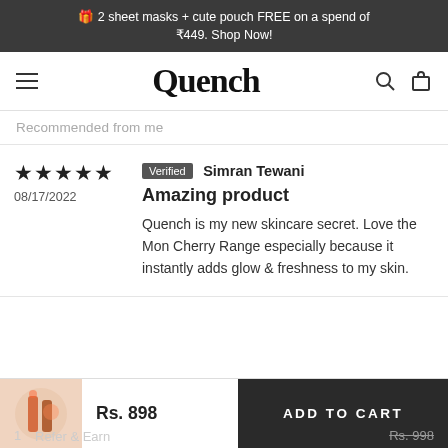🎁 2 sheet masks + cute pouch FREE on a spend of ₹449. Shop Now!
Quench
Recommended from me
⭐⭐⭐⭐⭐  08/17/2022  Verified Simran Tewani  Amazing product  Quench is my new skincare secret. Love the Mon Cherry Range especially because it instantly adds glow & freshness to my skin.
Rs. 898  ADD TO CART
1  Refer & Earn  Rs. 998